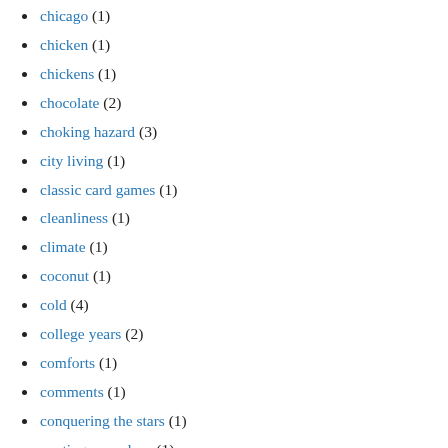chicago (1)
chicken (1)
chickens (1)
chocolate (2)
choking hazard (3)
city living (1)
classic card games (1)
cleanliness (1)
climate (1)
coconut (1)
cold (4)
college years (2)
comforts (1)
comments (1)
conquering the stars (1)
contingency plans (1)